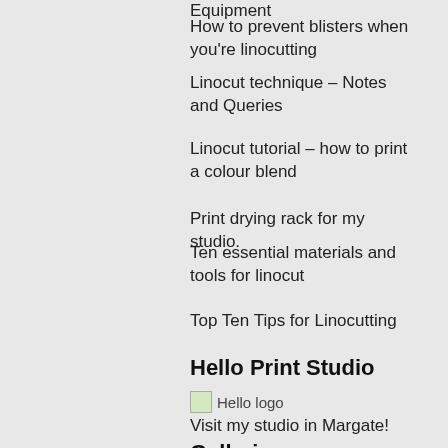Equipment
How to prevent blisters when you're linocutting
Linocut technique – Notes and Queries
Linocut tutorial – how to print a colour blend
Print drying rack for my studio.
Ten essential materials and tools for linocut
Top Ten Tips for Linocutting
Hello Print Studio
[Figure (logo): Hello logo placeholder image with broken image icon]
Visit my studio in Margate!
Galleries
For Arts Sake